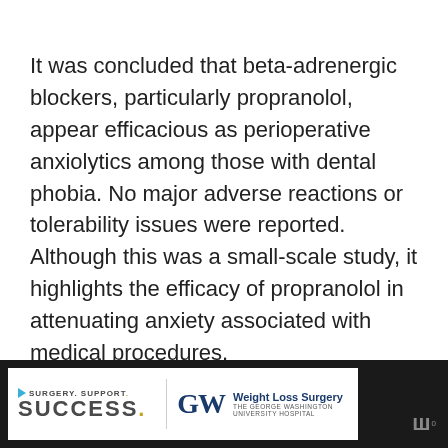It was concluded that beta-adrenergic blockers, particularly propranolol, appear efficacious as perioperative anxiolytics among those with dental phobia. No major adverse reactions or tolerability issues were reported.  Although this was a small-scale study, it highlights the efficacy of propranolol in attenuating anxiety associated with medical procedures.
[Figure (other): Advertisement banner: Surgery. Support. Success. GW Weight Loss Surgery - The George Washington University Hospital logo, with a play icon and W superscript logo on dark background.]